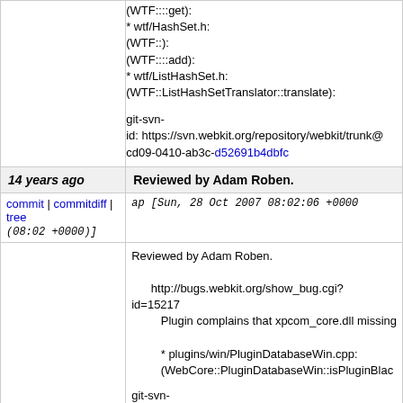(WTF::::get):
* wtf/HashSet.h: (WTF::): (WTF::::add):
* wtf/ListHashSet.h: (WTF::ListHashSetTranslator::translate):
git-svn-id: https://svn.webkit.org/repository/webkit/trunk@cd09-0410-ab3c-d52691b4dbfc
14 years ago	Reviewed by Adam Roben.
commit | commitdiff | tree
ap [Sun, 28 Oct 2007 08:02:06 +0000 (08:02 +0000)]
Reviewed by Adam Roben.

http://bugs.webkit.org/show_bug.cgi?id=15217
Plugin complains that xpcom_core.dll missing

* plugins/win/PluginDatabaseWin.cpp:
(WebCore::PluginDatabaseWin::isPluginBlac
git-svn-id: https://svn.webkit.org/repository/webkit/trunk@cd09-0410-ab3c-d52691b4dbfc